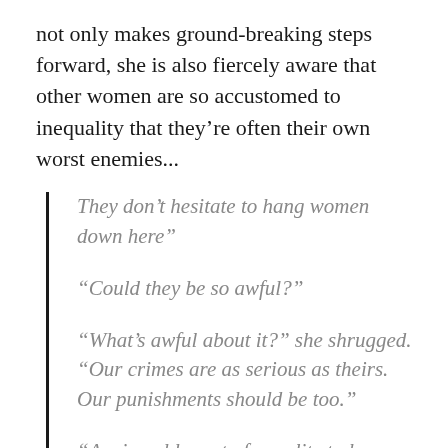not only makes ground-breaking steps forward, she is also fiercely aware that other women are so accustomed to inequality that they're often their own worst enemies...
They don't hesitate to hang women down here"
“Could they be so awful?”
“What’s awful about it?” she shrugged. “Our crimes are as serious as theirs. Our punishments should be too.”
“A miserable sort of equality to hope for.”